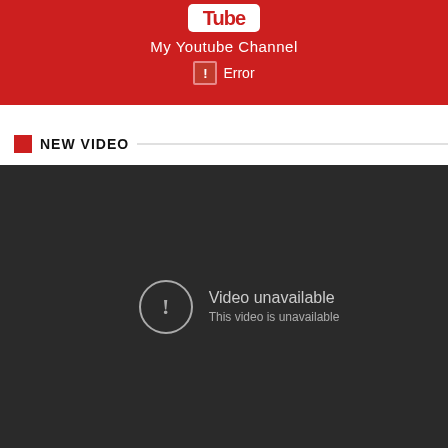[Figure (screenshot): YouTube channel header banner in red with YouTube logo (tube portion), channel name 'My Youtube Channel', and an error icon with 'Error' text]
NEW VIDEO
[Figure (screenshot): Dark video player showing 'Video unavailable / This video is unavailable' message with a circular exclamation mark icon]